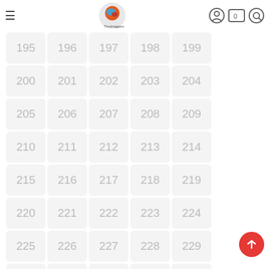Menu | La Tirudraggers logo | user icon | cart 0 | search
| 195 | 196 | 197 | 198 | 199 |
| 200 | 201 | 202 | 203 | 204 |
| 205 | 206 | 207 | 208 | 209 |
| 210 | 211 | 212 | 213 | 214 |
| 215 | 216 | 217 | 218 | 219 |
| 220 | 221 | 222 | 223 | 224 |
| 225 | 226 | 227 | 228 | 229 |
| 230 | 231 | 232 | 233 | 234 |
| 235 | 236 | 237 | 238 | 239 |
| 240 | 241 | 242 | 243 | 244 |